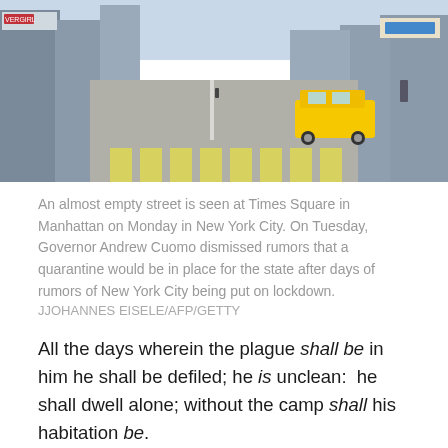[Figure (photo): An almost empty Times Square street scene in Manhattan, with tall buildings, billboards, a yellow taxi cab, and pedestrian crosswalk visible.]
An almost empty street is seen at Times Square in Manhattan on Monday in New York City. On Tuesday, Governor Andrew Cuomo dismissed rumors that a quarantine would be in place for the state after days of rumors of New York City being put on lockdown. JJOHANNES EISELE/AFP/GETTY
All the days wherein the plague shall be in him he shall be defiled; he is unclean:  he shall dwell alone; without the camp shall his habitation be.
Leviticus 13:46
“We haven’t faced an enemy like we are facing today in